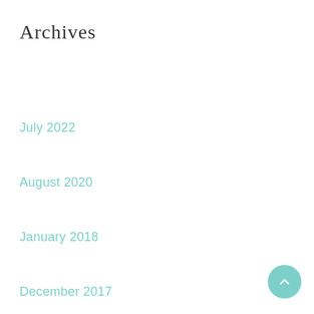Archives
July 2022
August 2020
January 2018
December 2017
November 2017
October 2017
September 2017
August 2017
July 2017
June 2017
December 2016
November 2016